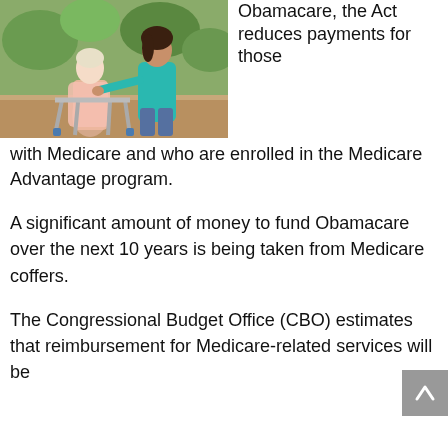[Figure (photo): An elderly woman using a walker outdoors, being assisted by a younger woman in a teal shirt]
Obamacare, the Act reduces payments for those with Medicare and who are enrolled in the Medicare Advantage program.
A significant amount of money to fund Obamacare over the next 10 years is being taken from Medicare coffers.
The Congressional Budget Office (CBO) estimates that reimbursement for Medicare-related services will be